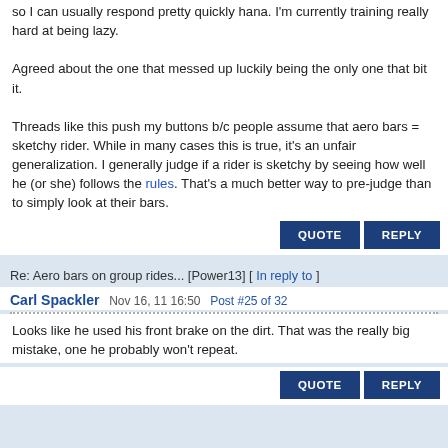so I can usually respond pretty quickly hana. I'm currently training really hard at being lazy.

Agreed about the one that messed up luckily being the only one that bit it.

Threads like this push my buttons b/c people assume that aero bars = sketchy rider. While in many cases this is true, it's an unfair generalization. I generally judge if a rider is sketchy by seeing how well he (or she) follows the rules. That's a much better way to pre-judge than to simply look at their bars.
QUOTE  REPLY
Re: Aero bars on group rides... [Power13] [ In reply to ]
Carl Spackler  Nov 16, 11 16:50  Post #25 of 32
Looks like he used his front brake on the dirt. That was the really big mistake, one he probably won't repeat.
QUOTE  REPLY